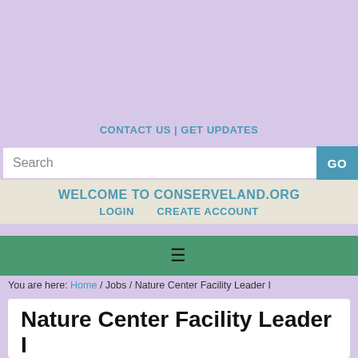CONTACT US | GET UPDATES
Search
GO
WELCOME TO CONSERVELAND.ORG
LOGIN   CREATE ACCOUNT
≡
You are here: Home / Jobs / Nature Center Facility Leader I
Nature Center Facility Leader I
Howard County Department of